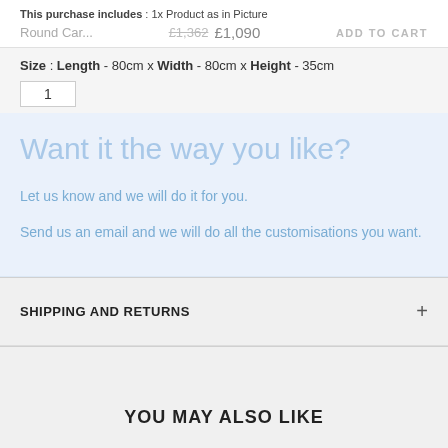This purchase includes : 1x Product as in Picture
Round Car...  £1,362  £1,090  ADD TO CART
Size : Length - 80cm x Width - 80cm x Height - 35cm
1
Want it the way you like?
Let us know and we will do it for you.
Send us an email and we will do all the customisations you want.
SHIPPING AND RETURNS
YOU MAY ALSO LIKE